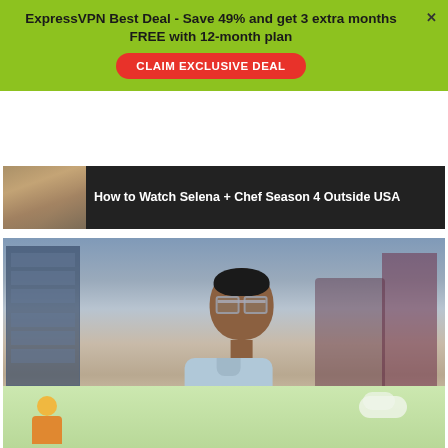ExpressVPN Best Deal - Save 49% and get 3 extra months FREE with 12-month plan
CLAIM EXCLUSIVE DEAL
How to Watch Selena + Chef Season 4 Outside USA
[Figure (illustration): Animated character - a man with glasses in a light blue shirt, seated in an office-like interior with cabinets in the background. Still from animated show Pantheon.]
How to Watch Pantheon Outside US...
[Figure (illustration): Partial view of a colorful illustrated card with a green background, a character figure on the left and clouds on the right.]